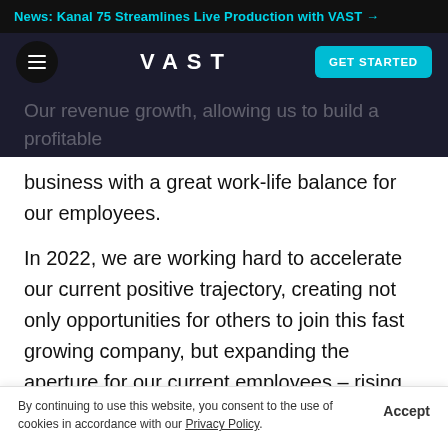News: Kanal 75 Streamlines Live Production with VAST →
VAST — GET STARTED
Our revenue growth, allowing us to build a profitable business with a great work-life balance for our employees.
In 2022, we are working hard to accelerate our current positive trajectory, creating not only opportunities for others to join this fast growing company, but expanding the aperture for our current employees – rising tides lift all ships, as they say.
By continuing to use this website, you consent to the use of cookies in accordance with our Privacy Policy.  Accept